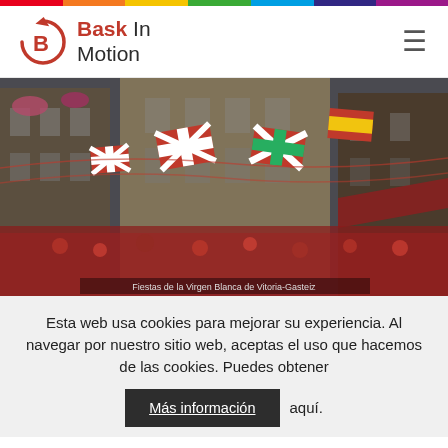Bask In Motion
[Figure (photo): Street festival photo showing a crowded narrow street with Basque flags and red-and-white banners hanging between buildings, people in traditional dress below]
Esta web usa cookies para mejorar su experiencia. Al navegar por nuestro sitio web, aceptas el uso que hacemos de las cookies. Puedes obtener Más información aquí.